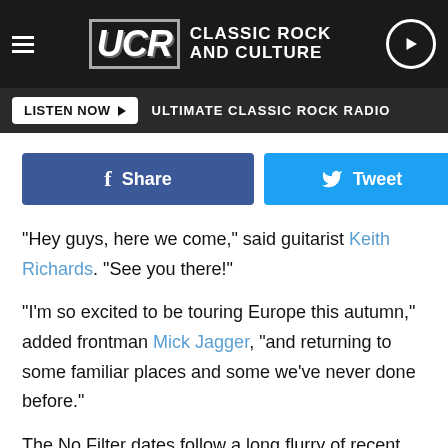UCR CLASSIC ROCK AND CULTURE
LISTEN NOW  ULTIMATE CLASSIC ROCK RADIO
[Figure (other): Facebook Share button and Twitter Tweet button side by side]
"Hey guys, here we come," said guitarist Keith Richards. "See you there!"
"I'm so excited to be touring Europe this autumn," added frontman Mick Jagger, "and returning to some familiar places and some we've never done before."
The No Filter dates follow a long flurry of recent activity that has included the Stones' first-ever concert in Cuba as well as Blue & [obscured] d the [obscured]